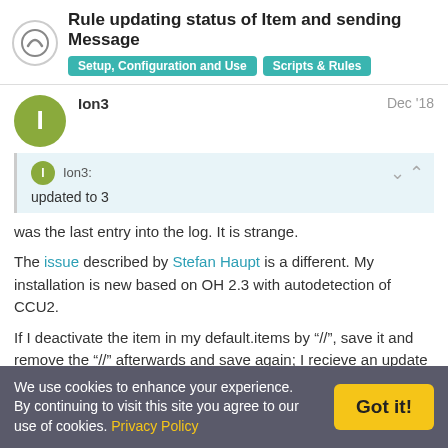Rule updating status of Item and sending Message | Setup, Configuration and Use | Scripts & Rules
Ion3  Dec '18
Ion3:
updated to 3
was the last entry into the log. It is strange.
The issue described by Stefan Haupt is a different. My installation is new based on OH 2.3 with autodetection of CCU2.
If I deactivate the item in my default.items by "//", save it and remove the "//" afterwards and save again; I recieve an update in my log file. The rule based on the following seems not to
We use cookies to enhance your experience. By continuing to visit this site you agree to our use of cookies. Privacy Policy  Got it!